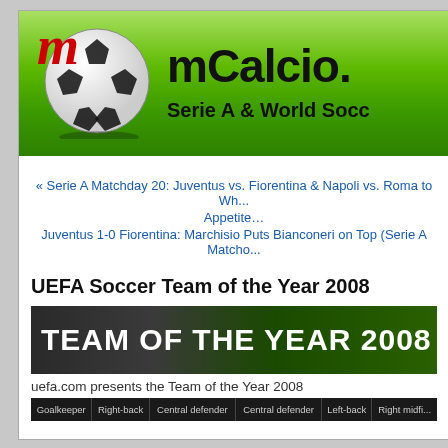[Figure (logo): mCalcio website header banner with green gradient background, soccer ball image, red italic 'm' logo, site name 'mCalcio.' and subtitle 'Serie A & World Socc...']
« Serie A Matchday 20: Juventus vs. Fiorentina & Napoli vs. Roma to Wh... Appetite…
Juventus 1-0 Fiorentina: Marchisio Puts Bianconeri on Top (Serie A Matcho...
UEFA Soccer Team of the Year 2008
[Figure (photo): Dark banner image showing 'TEAM OF THE YEAR 2008' text in large white bold letters over a grass field background]
uefa.com presents the Team of the Year 2008
| Goalkeeper | Right-back | Central defender | Central defender | Left-back | Right midfi... |
| --- | --- | --- | --- | --- | --- |